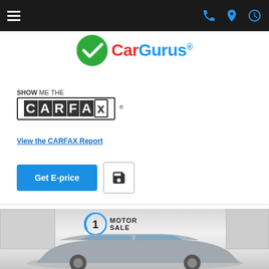Navigation bar with hamburger menu and icons
[Figure (logo): CarGurus logo with green checkmark circle and CarGurus text in red and blue]
[Figure (logo): Show Me The CARFAX badge logo with link: View the CARFAX Report]
View the CARFAX Report
Get E-price
[Figure (photo): Car dealership interior photo showing A1 Motor Sale logo on wall with a silver SUV in foreground]